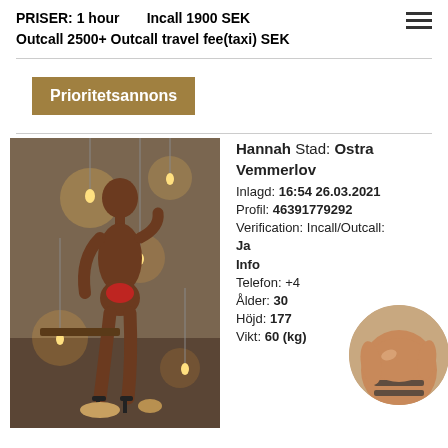PRISER: 1 hour   Incall 1900 SEK
Outcall 2500+ Outcall travel fee(taxi) SEK
Prioritetsannons
[Figure (photo): Full body photo of a dark-skinned woman posing in a dimly lit room with hanging Edison bulbs, wearing minimal red clothing and high heels]
Hannah Stad: Ostra Vemmerlov
Inlagd: 16:54 26.03.2021
Profil: 46391779292
Verification: Incall/Outcall: Ja
Info
Telefon: +4...
Ålder: 30
Höjd: 177
Vikt: 60 (kg)
[Figure (photo): Circular thumbnail photo showing a woman's torso]